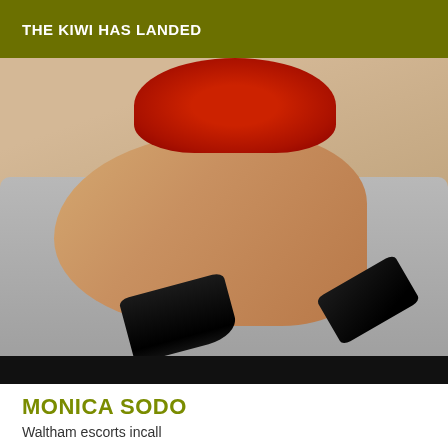THE KIWI HAS LANDED
[Figure (photo): Photo of a woman in a red lace bodysuit sitting on a grey sofa, legs crossed, wearing black strappy high heels]
MONICA SODO
Waltham escorts incall